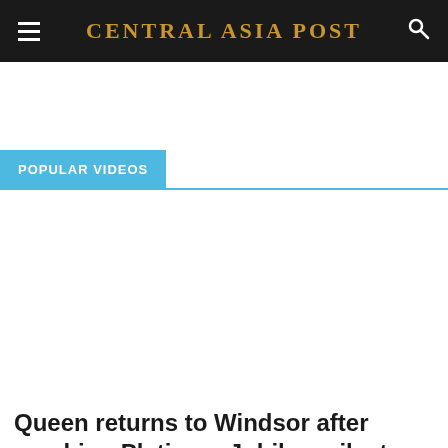CENTRAL ASIA POST
POPULAR VIDEOS
Queen returns to Windsor after reaching Platinum Jubilee milestone